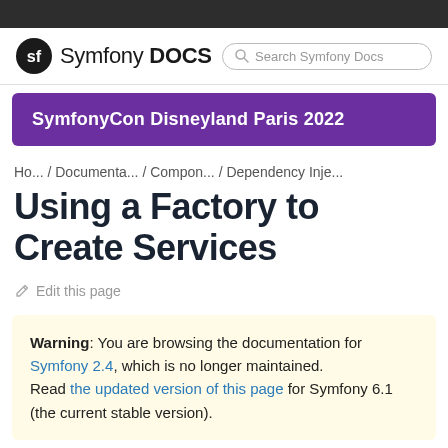Symfony DOCS
[Figure (logo): Symfony DOCS logo with SF circular icon and search bar]
[Figure (infographic): SymfonyCon Disneyland Paris 2022 promotional banner (purple background)]
Ho... / Documenta... / Compon... / Dependency Inje...
Using a Factory to Create Services
Edit this page
Warning: You are browsing the documentation for Symfony 2.4, which is no longer maintained. Read the updated version of this page for Symfony 6.1 (the current stable version).